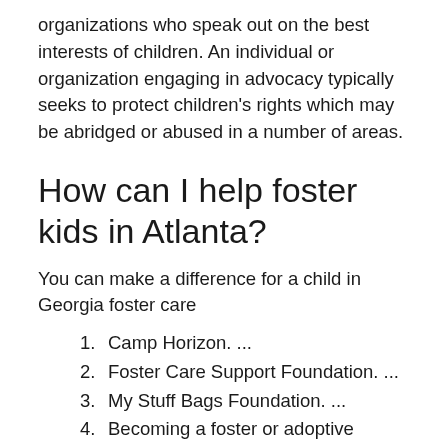organizations who speak out on the best interests of children. An individual or organization engaging in advocacy typically seeks to protect children's rights which may be abridged or abused in a number of areas.
How can I help foster kids in Atlanta?
You can make a difference for a child in Georgia foster care
Camp Horizon. ...
Foster Care Support Foundation. ...
My Stuff Bags Foundation. ...
Becoming a foster or adoptive parent.